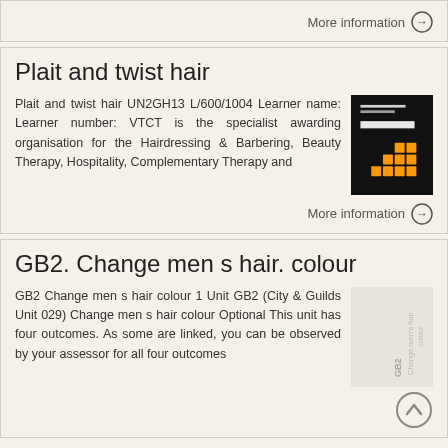More information →
Plait and twist hair
Plait and twist hair UN2GH13 L/600/1004 Learner name: Learner number: VTCT is the specialist awarding organisation for the Hairdressing & Barbering, Beauty Therapy, Hospitality, Complementary Therapy and
[Figure (photo): Thumbnail image of Plait and twist hair document cover — black background with orange grid/block elements]
More information →
GB2. Change men s hair. colour
GB2 Change men s hair colour 1 Unit GB2 (City & Guilds Unit 029) Change men s hair colour Optional This unit has four outcomes. As some are linked, you can be observed by your assessor for all four outcomes
[Figure (photo): Thumbnail image of GB2 Change men's hair colour document — light background with rotated text label]